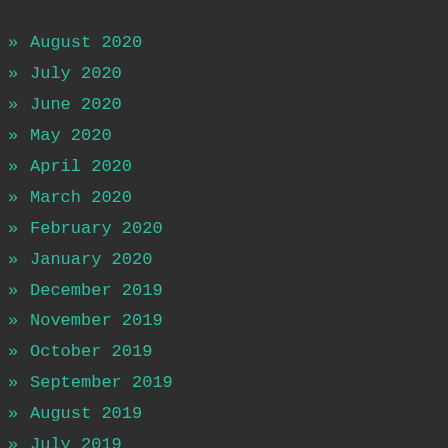» August 2020
» July 2020
» June 2020
» May 2020
» April 2020
» March 2020
» February 2020
» January 2020
» December 2019
» November 2019
» October 2019
» September 2019
» August 2019
» July 2019